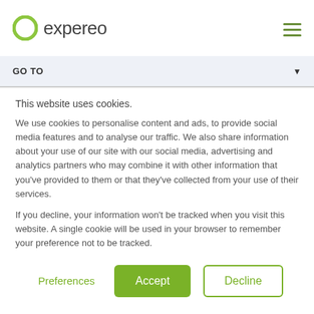[Figure (logo): Expereo logo with green circular ring icon and 'expereo' wordmark in dark gray]
GO TO
This website uses cookies.
We use cookies to personalise content and ads, to provide social media features and to analyse our traffic. We also share information about your use of our site with our social media, advertising and analytics partners who may combine it with other information that you’ve provided to them or that they’ve collected from your use of their services.
If you decline, your information won’t be tracked when you visit this website. A single cookie will be used in your browser to remember your preference not to be tracked.